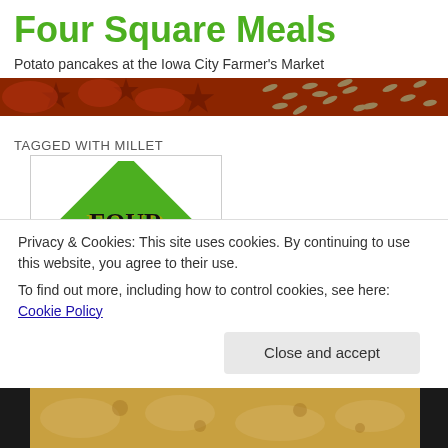Four Square Meals
Potato pancakes at the Iowa City Farmer's Market
TAGGED WITH MILLET
[Figure (logo): Four Square Meals logo with green diamond shape and large serif text reading FOUR SQUARE MEALS]
Privacy & Cookies: This site uses cookies. By continuing to use this website, you agree to their use.
To find out more, including how to control cookies, see here: Cookie Policy
Close and accept